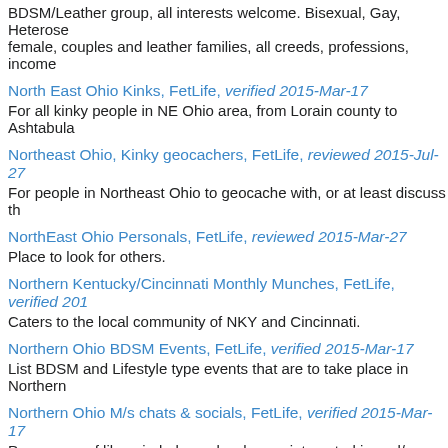BDSM/Leather group, all interests welcome. Bisexual, Gay, Heterosexual, female, couples and leather families, all creeds, professions, income
North East Ohio Kinks, FetLife, verified 2015-Mar-17
For all kinky people in NE Ohio area, from Lorain county to Ashtabula
Northeast Ohio, Kinky geocachers, FetLife, reviewed 2015-Jul-27
For people in Northeast Ohio to geocache with, or at least discuss th
NorthEast Ohio Personals, FetLife, reviewed 2015-Mar-27
Place to look for others.
Northern Kentucky/Cincinnati Monthly Munches, FetLife, verified 201
Caters to the local community of NKY and Cincinnati.
Northern Ohio BDSM Events, FetLife, verified 2015-Mar-17
List BDSM and Lifestyle type events that are to take place in Northern
Northern Ohio M/s chats & socials, FetLife, verified 2015-Mar-17
Peer group of like minded people who are interested in and/or living